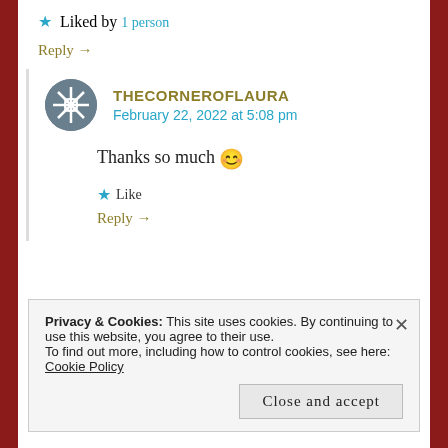★ Liked by 1 person
Reply →
THECORNEROFLAURA
February 22, 2022 at 5:08 pm
Thanks so much 😊
★ Like
Reply →
Privacy & Cookies: This site uses cookies. By continuing to use this website, you agree to their use.
To find out more, including how to control cookies, see here: Cookie Policy
Close and accept